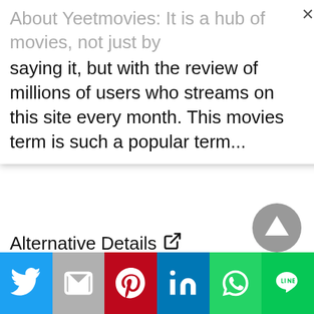About Yeetmovies: It is a hub of movies, not just by saying it, but with the review of millions of users who streams on this site every month. This movies term is such a popular term...
Alternative Details ↗
Yify TV
[Figure (other): Scroll to top button - circular grey arrow up button]
Share buttons: Twitter, Gmail, Pinterest, LinkedIn, WhatsApp, Line